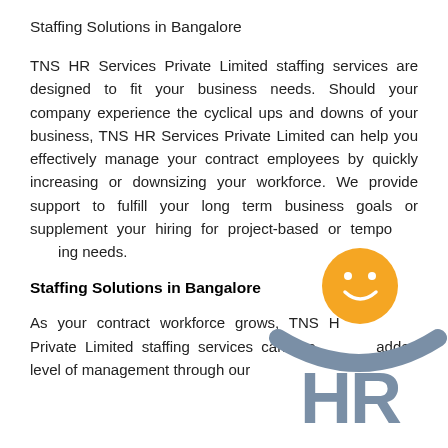Staffing Solutions in Bangalore
TNS HR Services Private Limited staffing services are designed to fit your business needs. Should your company experience the cyclical ups and downs of your business, TNS HR Services Private Limited can help you effectively manage your contract employees by quickly increasing or downsizing your workforce. We provide support to fulfill your long term business goals or supplement your hiring for project-based or temporary staffing needs.
Staffing Solutions in Bangalore
As your contract workforce grows, TNS HR Services Private Limited staffing services can provide an added level of management through our on-site